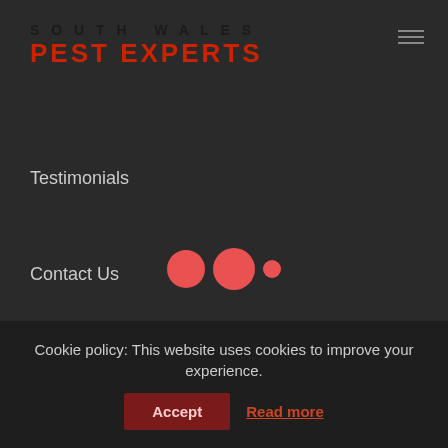[Figure (logo): South Wales Pest Experts logo — 'SOUTH WALES' in dark tracked caps, 'PEST EXPERTS' in large bold red tracked caps]
[Figure (other): Hamburger menu icon — three horizontal lines in grey]
Testimonials
Contact Us
SUPPORT
[Figure (other): Loading indicator with three salmon/coral circles of increasing then decreasing size]
Terms of Use
Privacy Policy
Cookie Policy
Cookie policy: This website uses cookies to improve your experience.
Accept
Read more